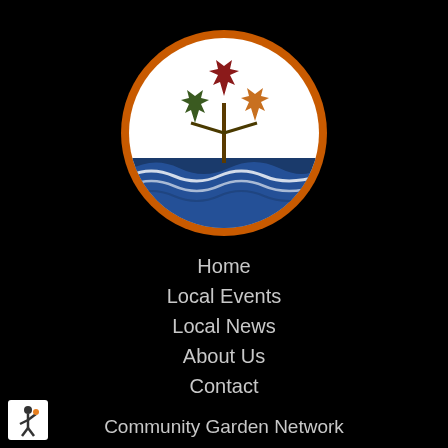[Figure (logo): Circular logo with orange border: three maple leaves (dark green left, red center, orange right) on stems above blue stylized water waves, white background]
Home
Local Events
Local News
About Us
Contact
Community Garden Network
Lake Huron Forever
Sustainable Living
CareerWorks
[Figure (logo): Small white circular icon with figure holding a torch or similar, black background, bottom-left corner]